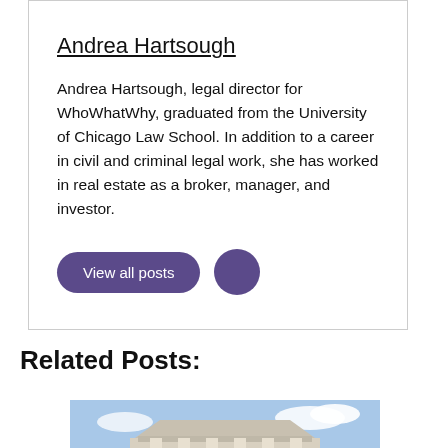Andrea Hartsough
Andrea Hartsough, legal director for WhoWhatWhy, graduated from the University of Chicago Law School. In addition to a career in civil and criminal legal work, she has worked in real estate as a broker, manager, and investor.
View all posts
Related Posts:
[Figure (photo): Two uniformed officers standing in front of a neoclassical building with columns, likely a courthouse or government building, under a blue sky.]